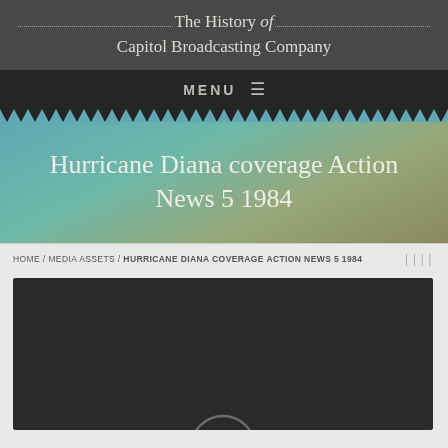The History of Capitol Broadcasting Company
MENU
Hurricane Diana coverage Action News 5 1984
HOME / MEDIA ASSETS / HURRICANE DIANA COVERAGE ACTION NEWS 5 1984
[Figure (screenshot): Dark video thumbnail area with partial play button visible at bottom]